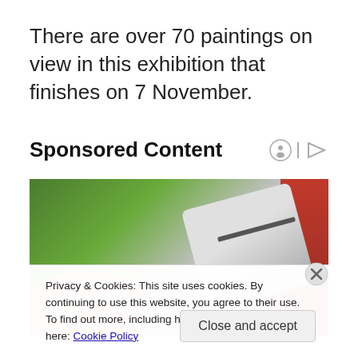There are over 70 paintings on view in this exhibition that finishes on 7 November.
Sponsored Content
[Figure (photo): Close-up photo of what appears to be a medical or electronic device (pen-like silver device) held in a hand, with green background and red accent. Partially obscured by cookie consent overlay.]
Privacy & Cookies: This site uses cookies. By continuing to use this website, you agree to their use.
To find out more, including how to control cookies, see here: Cookie Policy
Close and accept